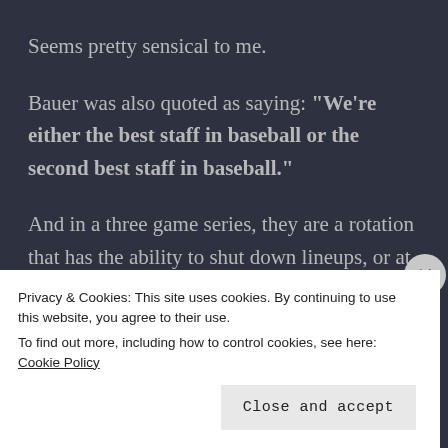Seems pretty sensical to me.
Bauer was also quoted as saying: “We’re either the best staff in baseball or the second best staff in baseball.”
And in a three game series, they are a rotation that has the ability to shut down lineups, or at least keep offensive production at a lower pace than fans are used to seeing their teams
Privacy & Cookies: This site uses cookies. By continuing to use this website, you agree to their use.
To find out more, including how to control cookies, see here: Cookie Policy
Close and accept